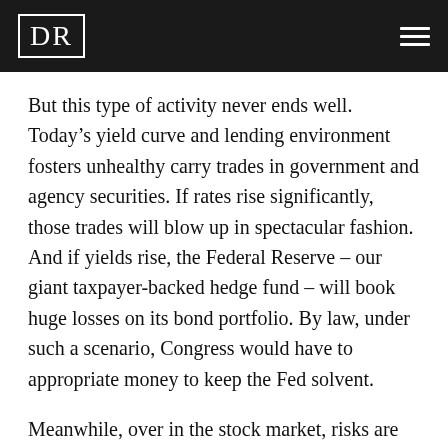DR
But this type of activity never ends well. Today’s yield curve and lending environment fosters unhealthy carry trades in government and agency securities. If rates rise significantly, those trades will blow up in spectacular fashion. And if yields rise, the Federal Reserve – our giant taxpayer-backed hedge fund – will book huge losses on its bond portfolio. By law, under such a scenario, Congress would have to appropriate money to keep the Fed solvent.
Meanwhile, over in the stock market, risks are on the rise. A negative economic surprise in 2010 is likely to originate in Europe, where weak welfare states seek financial support from relatively stronger ones. Just